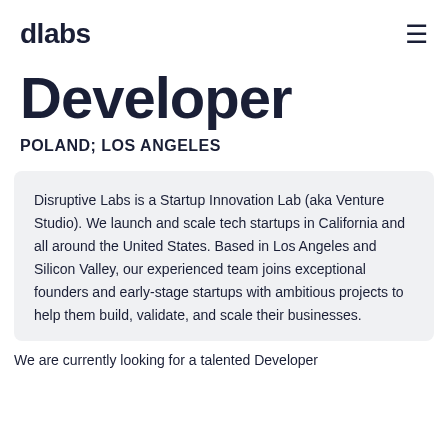dlabs
Developer
POLAND; LOS ANGELES
Disruptive Labs is a Startup Innovation Lab (aka Venture Studio). We launch and scale tech startups in California and all around the United States. Based in Los Angeles and Silicon Valley, our experienced team joins exceptional founders and early-stage startups with ambitious projects to help them build, validate, and scale their businesses.
We are currently looking for a talented Developer